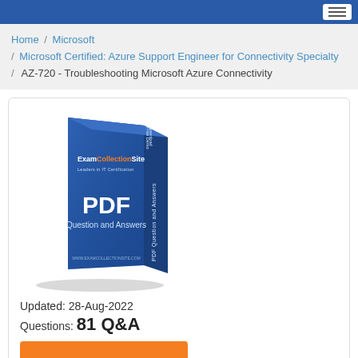Home / Microsoft / Microsoft Certified: Azure Support Engineer for Connectivity Specialty / AZ-720 - Troubleshooting Microsoft Azure Connectivity
[Figure (illustration): ExamCollectionSite PDF Question and Answers book cover — blue 3D book with orange and white branding text]
Updated: 28-Aug-2022
Questions: 81 Q&A